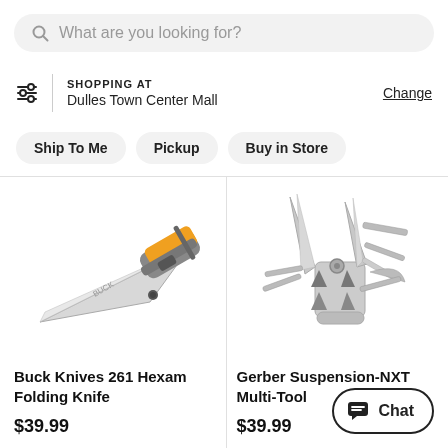What are you looking for?
SHOPPING AT
Dulles Town Center Mall
Change
Ship To Me
Pickup
Buy in Store
[Figure (photo): Buck Knives 261 Hexam Folding Knife product photo showing an open folding knife with gray and orange handle and silver blade]
Buck Knives 261 Hexam Folding Knife
$39.99
[Figure (photo): Gerber Suspension-NXT Multi-Tool product photo showing an open multi-tool with silver pliers and multiple extended tools]
Gerber Suspension-NXT Multi-Tool
$39.99
Chat